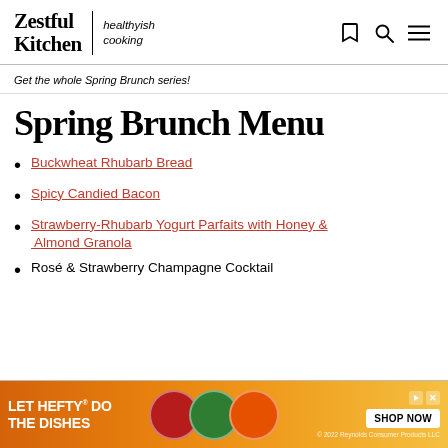Zestful Kitchen | healthyish cooking
Get the whole Spring Brunch series!
Spring Brunch Menu
Buckwheat Rhubarb Bread
Spicy Candied Bacon
Strawberry-Rhubarb Yogurt Parfaits with Honey & Almond Granola
Rosé & Strawberry Champagne Cocktail
[Figure (infographic): Advertisement banner: LET HEFTY DO THE DISHES with product images and SHOP NOW button. © 2022 Reynolds Consumer Products LLC]